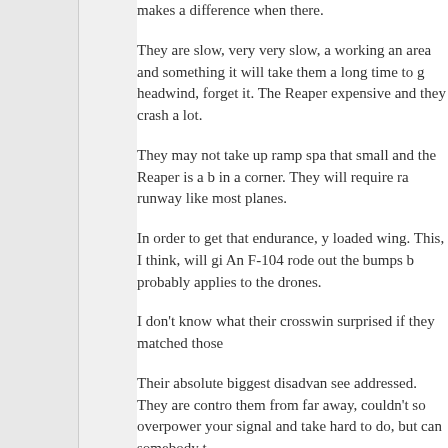makes a difference when there.
They are slow, very very slow, a working an area and something it will take them a long time to g headwind, forget it. The Reaper expensive and they crash a lot.
They may not take up ramp spa that small and the Reaper is a b in a corner. They will require ra runway like most planes.
In order to get that endurance, y loaded wing. This, I think, will gi An F-104 rode out the bumps b probably applies to the drones.
I don't know what their crosswin surprised if they matched those
Their absolute biggest disadvan see addressed. They are contro them from far away, couldn't so overpower your signal and take hard to do, but can somebody t
On the cost question, comparin comparison. You should be com aircraft like a King Air or a Cara